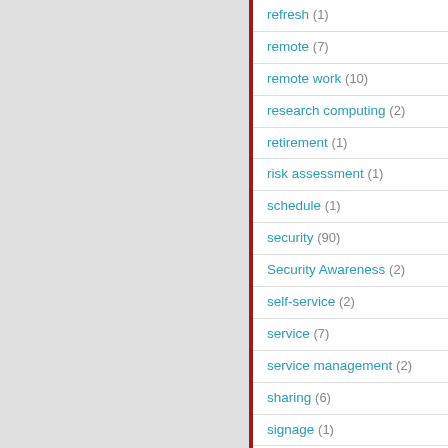refresh (1)
remote (7)
remote work (10)
research computing (2)
retirement (1)
risk assessment (1)
schedule (1)
security (90)
Security Awareness (2)
self-service (2)
service (7)
service management (2)
sharing (6)
signage (1)
signature (1)
Skype for Business (3)
Slack (1)